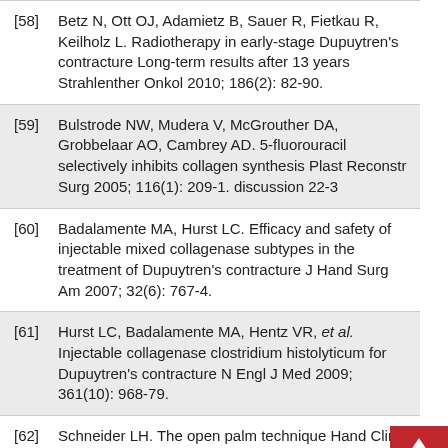[58] Betz N, Ott OJ, Adamietz B, Sauer R, Fietkau R, Keilholz L. Radiotherapy in early-stage Dupuytren's contracture Long-term results after 13 years Strahlenther Onkol 2010; 186(2): 82-90.
[59] Bulstrode NW, Mudera V, McGrouther DA, Grobbelaar AO, Cambrey AD. 5-fluorouracil selectively inhibits collagen synthesis Plast Reconstr Surg 2005; 116(1): 209-1. discussion 22-3
[60] Badalamente MA, Hurst LC. Efficacy and safety of injectable mixed collagenase subtypes in the treatment of Dupuytren's contracture J Hand Surg Am 2007; 32(6): 767-4.
[61] Hurst LC, Badalamente MA, Hentz VR, et al. Injectable collagenase clostridium histolyticum for Dupuytren's contracture N Engl J Med 2009; 361(10): 968-79.
[62] Schneider LH. The open palm technique Hand Clin 1991; 7(4): 723-8.
[63] Dias JJ, Braybrooke J. Dupuytren's contracture: an audit of the outcomes of surgery J Hand Surg Br 2006; 31(5):